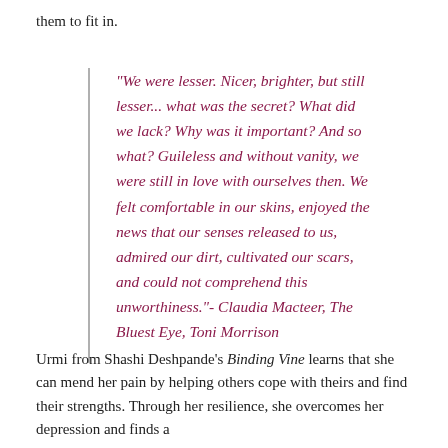them to fit in.
“We were lesser. Nicer, brighter, but still lesser... what was the secret? What did we lack? Why was it important? And so what? Guileless and without vanity, we were still in love with ourselves then. We felt comfortable in our skins, enjoyed the news that our senses released to us, admired our dirt, cultivated our scars, and could not comprehend this unworthiness.”- Claudia Macteer, The Bluest Eye, Toni Morrison
Urmi from Shashi Deshpande’s Binding Vine learns that she can mend her pain by helping others cope with theirs and find their strengths. Through her resilience, she overcomes her depression and finds a